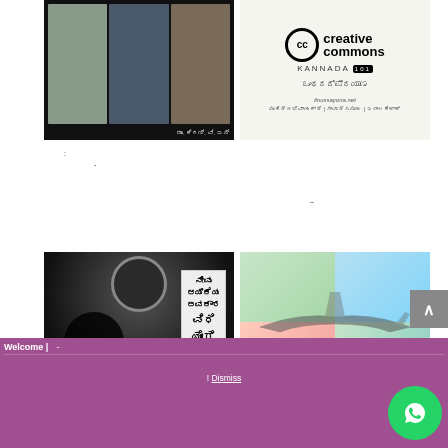[Figure (photo): Film-strip style collage of black and white scenes with Kannada text caption at bottom]
[Figure (logo): Creative Commons Kannada 101 logo with website URL and Kannada text links]
:
-
-
[Figure (photo): Black and white protest photo with Kannada text signboard overlay reading Vidhi Yogi Daiva]
[Figure (photo): Colorful composite image with aircraft silhouette overlaid on colored quadrants]
Welcome | -
! Dismiss